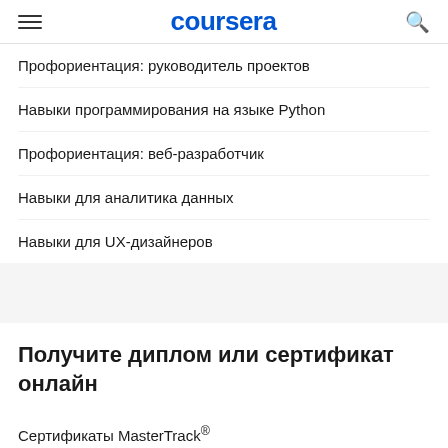coursera
Профориентация: руководитель проектов
Навыки программирования на языке Python
Профориентация: веб-разработчик
Навыки для аналитика данных
Навыки для UX-дизайнеров
Получите диплом или сертификат онлайн
Сертификаты MasterTrack®
Профессиональные сертификаты
Сертификаты университетов
MBA и другие дипломы в области бизнеса